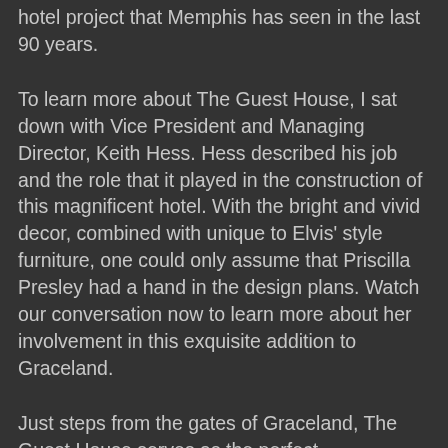hotel project that Memphis has seen in the last 90 years.
To learn more about The Guest House, I sat down with Vice President and Managing Director, Keith Hess. Hess described his job and the role that it played in the construction of this magnificent hotel. With the bright and vivid decor, combined with unique to Elvis' style furniture, one could only assume that Priscilla Presley had a hand in the design plans. Watch our conversation now to learn more about her involvement in this exquisite addition to Graceland.
Just steps from the gates of Graceland, The Guest House serves as the perfect